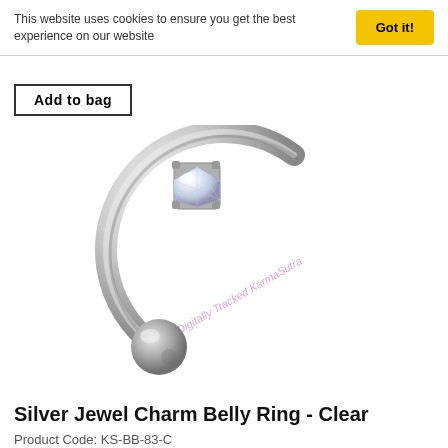This website uses cookies to ensure you get the best experience on our website
Got it!
Add to bag
[Figure (photo): Silver spiral belly ring with a clear crystal jewel charm on one end and a silver ball on the other end, shown on white background with a diagonal pink watermark text 'Digitally Tracked KarmaSutra']
Silver Jewel Charm Belly Ring - Clear
Product Code: KS-BB-83-C